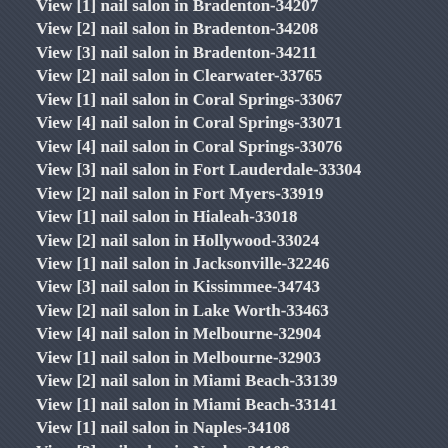View [1] nail salon in Bradenton-34207
View [2] nail salon in Bradenton-34208
View [3] nail salon in Bradenton-34211
View [2] nail salon in Clearwater-33765
View [1] nail salon in Coral Springs-33067
View [4] nail salon in Coral Springs-33071
View [4] nail salon in Coral Springs-33076
View [3] nail salon in Fort Lauderdale-33304
View [2] nail salon in Fort Myers-33919
View [1] nail salon in Hialeah-33018
View [2] nail salon in Hollywood-33024
View [1] nail salon in Jacksonville-32246
View [3] nail salon in Kissimmee-34743
View [2] nail salon in Lake Worth-33463
View [4] nail salon in Melbourne-32904
View [1] nail salon in Melbourne-32903
View [2] nail salon in Miami Beach-33139
View [1] nail salon in Miami Beach-33141
View [1] nail salon in Naples-34108
View [3] nail salon in Naples-34109
View [2] nail salon in Naples-34110